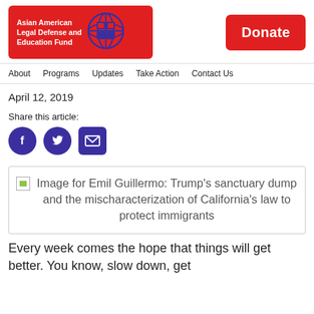Asian American Legal Defense and Education Fund | Donate
About  Programs  Updates  Take Action  Contact Us
April 12, 2019
Share this article:
[Figure (other): Social sharing icons: Facebook, Twitter, Email]
[Figure (photo): Image for Emil Guillermo: Trump's sanctuary dump and the mischaracterization of California's law to protect immigrants]
Every week comes the hope that things will get better. You know, slow down, get